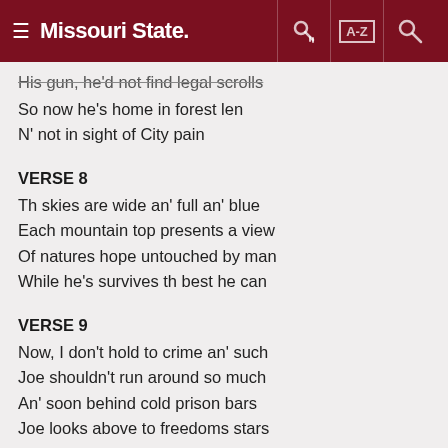Missouri State
His gun, he'd not find legal scrolls
So now he's home in forest len
N' not in sight of City pain
VERSE 8
Th skies are wide an' full an' blue
Each mountain top presents a view
Of natures hope untouched by man
While he's survives th best he can
VERSE 9
Now, I don't hold to crime an' such
Joe shouldn't run around so much
An' soon behind cold prison bars
Joe looks above to freedoms stars
VERSE 10